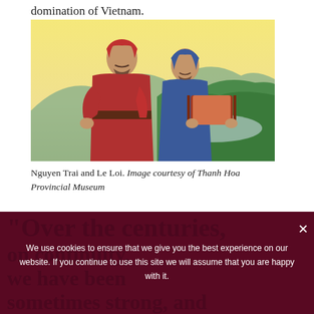domination of Vietnam.
[Figure (illustration): Painting of Nguyen Trai and Le Loi, two historical Vietnamese figures. One wears red robes and a red headcovering, the other wears blue robes and holds an open scroll. Green mountains and a yellow sky are visible in the background.]
Nguyen Trai and Le Loi. Image courtesy of Thanh Hoa Provincial Museum
“Over the centuries, on continuity, we have been sometimes strong, and sometimes weak, but
We use cookies to ensure that we give you the best experience on our website. If you continue to use this site we will assume that you are happy with it.